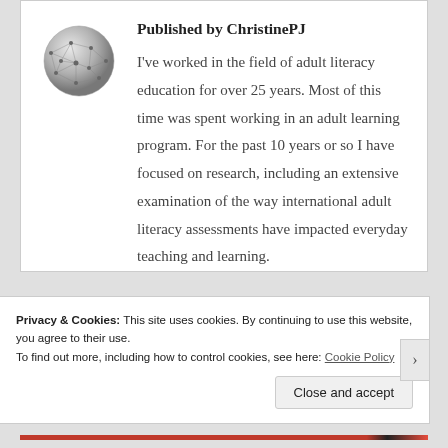[Figure (illustration): Globe/sphere icon composed of interconnected text or lines, rendered in silver/gray tones, representing ChristinePJ's author avatar]
Published by ChristinePJ
I've worked in the field of adult literacy education for over 25 years. Most of this time was spent working in an adult learning program. For the past 10 years or so I have focused on research, including an extensive examination of the way international adult literacy assessments have impacted everyday teaching and learning.
Privacy & Cookies: This site uses cookies. By continuing to use this website, you agree to their use.
To find out more, including how to control cookies, see here: Cookie Policy
Close and accept